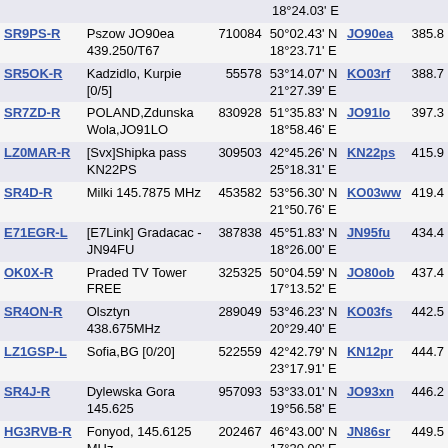| Callsign | Description | Number | Coordinates | Locator | Dist |
| --- | --- | --- | --- | --- | --- |
|  |  |  | 18°24.03' E |  |  |
| SR9PS-R | Pszow JO90ea 439.250/T67 | 710084 | 50°02.43' N 18°23.71' E | JO90ea | 385.8 |
| SR5OK-R | Kadzidlo, Kurpie [0/5] | 55578 | 53°14.07' N 21°27.39' E | KO03rf | 388.7 |
| SR7ZD-R | POLAND,Zdunska Wola,JO91LO | 830928 | 51°35.83' N 18°58.46' E | JO91lo | 397.3 |
| LZ0MAR-R | [Svx]Shipka pass KN22PS | 309503 | 42°45.26' N 25°18.31' E | KN22ps | 415.9 |
| SR4D-R | Milki 145.7875 MHz | 453582 | 53°56.30' N 21°50.76' E | KO03ww | 419.4 |
| E71EGR-L | [E7Link] Gradacac - JN94FU | 387838 | 45°51.83' N 18°26.00' E | JN95fu | 434.4 |
| OK0X-R | Praded TV Tower FREE | 325325 | 50°04.59' N 17°13.52' E | JO80ob | 437.4 |
| SR4ON-R | Olsztyn 438.675MHz | 289049 | 53°46.23' N 20°29.40' E | KO03fs | 442.5 |
| LZ1GSP-L | Sofia,BG [0/20] | 522559 | 42°42.79' N 23°17.91' E | KN12pr | 444.7 |
| SR4J-R | Dylewska Gora 145.625 | 957093 | 53°33.01' N 19°56.58' E | JO93xn | 446.2 |
| HG3RVB-R | Fonyod, 145.6125 MHz (1) | 202467 | 46°43.00' N 17°30.00' E | JN86sr | 449.5 |
| LZ0TUK-R | 438.100 SOFIA AnalogREP | 438100 | 42°38.12' N 23°14.37' E | KN12op | 450.8 |
| E75HZ-L | [E7Link] Orasje - JN95IA | 968645 | 45°01.86' N 18°41.93' E | JN95ia | 455.1 |